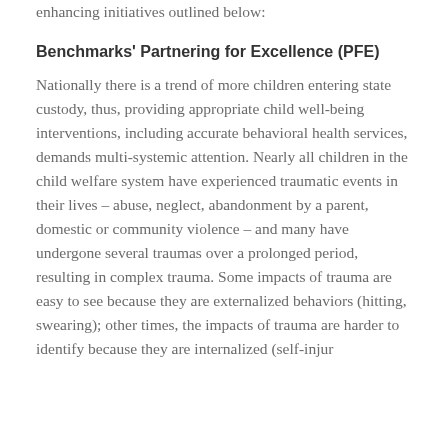enhancing initiatives outlined below:
Benchmarks' Partnering for Excellence (PFE)
Nationally there is a trend of more children entering state custody, thus, providing appropriate child well-being interventions, including accurate behavioral health services, demands multi-systemic attention. Nearly all children in the child welfare system have experienced traumatic events in their lives – abuse, neglect, abandonment by a parent, domestic or community violence – and many have undergone several traumas over a prolonged period, resulting in complex trauma. Some impacts of trauma are easy to see because they are externalized behaviors (hitting, swearing); other times, the impacts of trauma are harder to identify because they are internalized (self-injur…